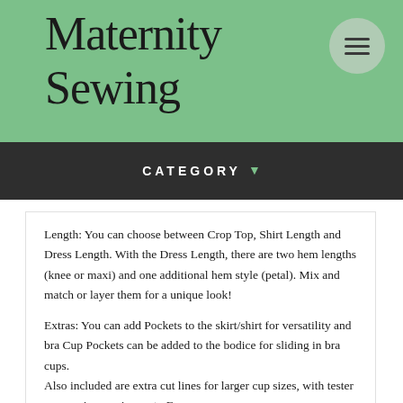Maternity Sewing
CATEGORY
Length: You can choose between Crop Top, Shirt Length and Dress Length. With the Dress Length, there are two hem lengths (knee or maxi) and one additional hem style (petal). Mix and match or layer them for a unique look!
Extras: You can add Pockets to the skirt/shirt for versatility and bra Cup Pockets can be added to the bodice for sliding in bra cups.
Also included are extra cut lines for larger cup sizes, with tester success in cup size up to F.
This pattern is the sister to the popular Brazi pattern. That